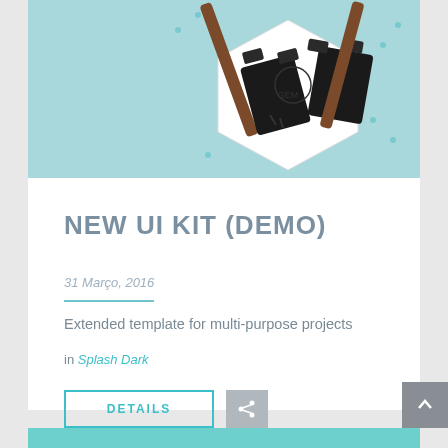[Figure (photo): Hero image showing black binder clips holding a white hexagonal card with illustration, against a light blue/teal background]
NEW UI KIT (DEMO)
31 Março, 2016
Extended template for multi-purpose projects
in Splash Dark